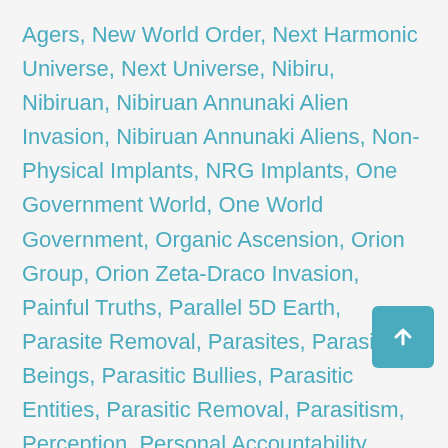Agers, New World Order, Next Harmonic Universe, Next Universe, Nibiru, Nibiruan, Nibiruan Annunaki Alien Invasion, Nibiruan Annunaki Aliens, Non-Physical Implants, NRG Implants, One Government World, One World Government, Organic Ascension, Orion Group, Orion Zeta-Draco Invasion, Painful Truths, Parallel 5D Earth, Parasite Removal, Parasites, Parasitic Beings, Parasitic Bullies, Parasitic Entities, Parasitic Removal, Parasitism, Perception, Personal Accountability, Personal Growth, Personal Power, Personal Sovereignty, Personal Value System, Phantom, Phantom 5D Dead Light, Phantom 5D Dead Light Structures, Phantom Hole Matrix, Phantom Matrix, Phantom Matrix Timelines, Phantom Wormholes, Physical Body, Plasma Implants, Pleiadian-Nibiruian Anunnaki, Portal Gateway, Possession, Power Elite, Prison Planet, Propaganda, Psychic Attack, Psychic Attack, Psychic Self-Defense, Psychopaths, Psychosis, Rape, Realignment, Reincarnation, Reincarnation Matrix, Rejecting Reality, Rejecting Truth, Remembering, Remembering Who We Are, Reptilian, Reptilian Entities, Reptilian Hive Mind,